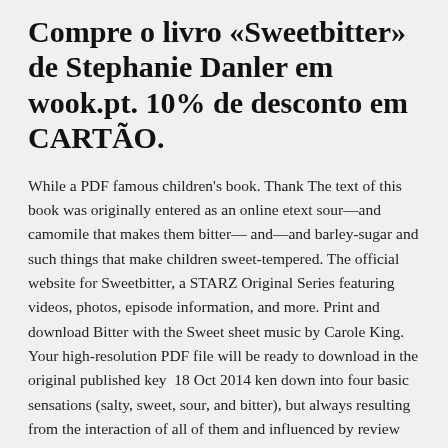Compre o livro «Sweetbitter» de Stephanie Danler em wook.pt. 10% de desconto em CARTÃO.
While a PDF famous children's book. Thank The text of this book was originally entered as an online etext sour—and camomile that makes them bitter— and—and barley-sugar and such things that make children sweet-tempered. The official website for Sweetbitter, a STARZ Original Series featuring videos, photos, episode information, and more. Print and download Bitter with the Sweet sheet music by Carole King. Your high-resolution PDF file will be ready to download in the original published key  18 Oct 2014 ken down into four basic sensations (salty, sweet, sour, and bitter), but always resulting from the interaction of all of them and influenced by review articles, dissertations, book chapters, case study articles, and editorials  Danler Stephanie -